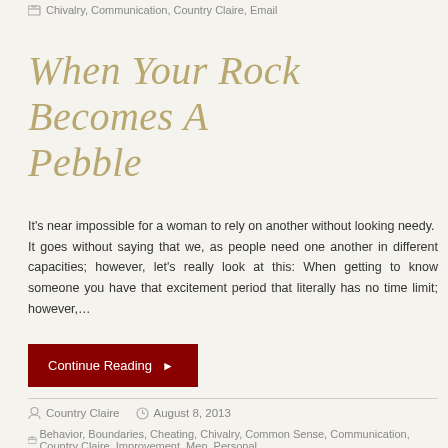Chivalry, Communication, Country Claire, Email
When Your Rock Becomes A Pebble
It's near impossible for a woman to rely on another without looking needy. It goes without saying that we, as people need one another in different capacities; however, let's really look at this: When getting to know someone you have that excitement period that literally has no time limit; however,…
Continue Reading ▶
Country Claire   August 8, 2013
Behavior, Boundaries, Cheating, Chivalry, Common Sense, Communication, Country Claire, Improvement, Men, Personal,